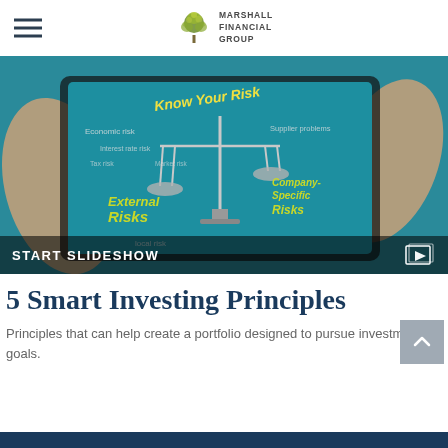Marshall Financial Group
[Figure (photo): Person holding a tablet displaying a risk management graphic with a balance scale showing 'External Risks' and 'Company-Specific Risks', with text including 'Know Your Risk', 'Economic risk', 'Interest rate risk', 'Tax risk', 'Market risk', 'Supplier problems'. Overlay bar at bottom reads 'START SLIDESHOW' with a slideshow icon.]
5 Smart Investing Principles
Principles that can help create a portfolio designed to pursue investment goals.